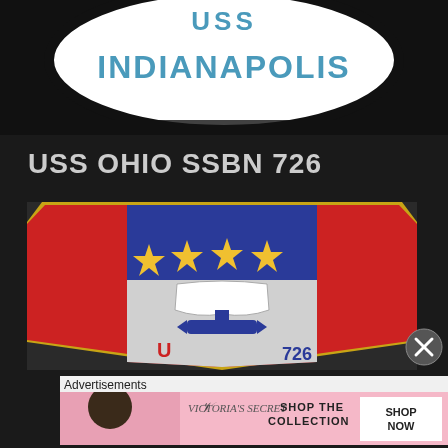[Figure (photo): Partial view of USS Indianapolis embroidered patch, white oval with blue text on black background, mostly cropped]
USS OHIO SSBN 726
[Figure (photo): USS Ohio SSBN 726 embroidered patch showing shield shape with gold border, red side panels, blue top with four gold stars, Ohio state outline in white/gray center with blue submarine and gold torpedo symbol, partial view]
Advertisements
[Figure (photo): Victoria's Secret advertisement banner with woman and text SHOP THE COLLECTION, SHOP NOW button]